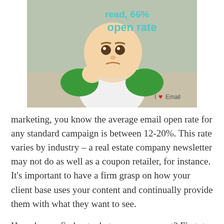[Figure (photo): A baby/toddler wearing a green and white shirt, making a triumphant fist pose. Overlay text reads 'read, 66% open rate' in teal. Bottom right shows a red heart with 'Email' text (I heart Email logo).]
marketing, you know the average email open rate for any standard campaign is between 12-20%. This rate varies by industry – a real estate company newsletter may not do as well as a coupon retailer, for instance. It's important to have a firm grasp on how your client base uses your content and continually provide them with what they want to see.
How do you find out what your users want? First, try asking them. As simple as it sounds, engaging your users via social media and incentive-based surveys can get them talking to